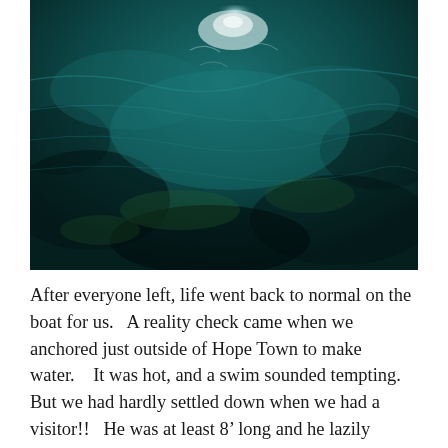[Figure (photo): Underwater photograph of teal/dark green ocean water with light reflecting off the surface from below, showing swirling patterns and depth.]
After everyone left, life went back to normal on the boat for us.   A reality check came when we anchored just outside of Hope Town to make water.    It was hot, and a swim sounded tempting.  But we had hardly settled down when we had a visitor!!   He was at least 8' long and he lazily circled our boat five or six times, checking us out with his beady eye.   Now we think that some of the